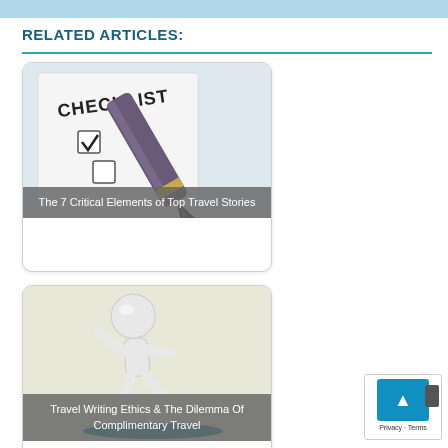RELATED ARTICLES:
[Figure (photo): Checklist with fountain pen and checkboxes]
The 7 Critical Elements of Top Travel Stories
[Figure (illustration): 3D white figure character skating/sliding on a board]
Travel Writing Ethics & The Dilemma Of Complimentary Travel